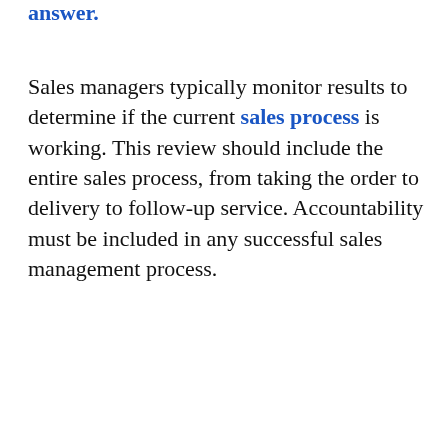answer.
Sales managers typically monitor results to determine if the current sales process is working. This review should include the entire sales process, from taking the order to delivery to follow-up service. Accountability must be included in any successful sales management process.